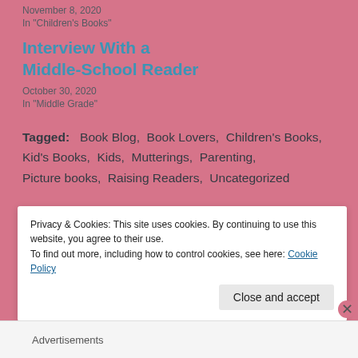November 8, 2020
In "Children's Books"
Interview With a Middle-School Reader
October 30, 2020
In "Middle Grade"
Tagged:   Book Blog,   Book Lovers,   Children's Books,   Kid's Books,   Kids,   Mutterings,   Parenting,   Picture books,   Raising Readers,   Uncategorized
Privacy & Cookies: This site uses cookies. By continuing to use this website, you agree to their use.
To find out more, including how to control cookies, see here: Cookie Policy
Close and accept
Advertisements